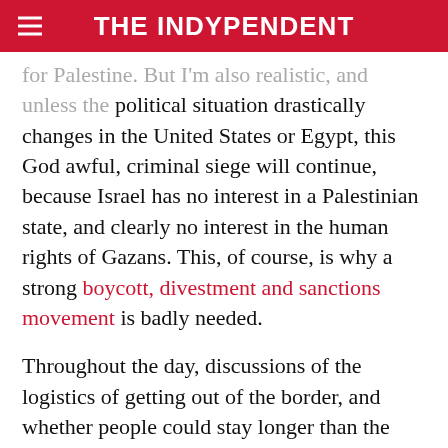THE INDYPENDENT
for Palestine. But I'm also realistic, and unless the political situation drastically changes in the United States or Egypt, this God awful, criminal siege will continue, because Israel has no interest in a Palestinian state, and clearly no interest in the human rights of Gazans. This, of course, is why a strong boycott, divestment and sanctions movement is badly needed.
Throughout the day, discussions of the logistics of getting out of the border, and whether people could stay longer than the Egyptian government wanted them to, went on. We foreigners are worried about being stuck in Rafah for a couple of days and possibly missing our flights home because of the Egyptians and all of the trouble they have put the Gaza Freedom